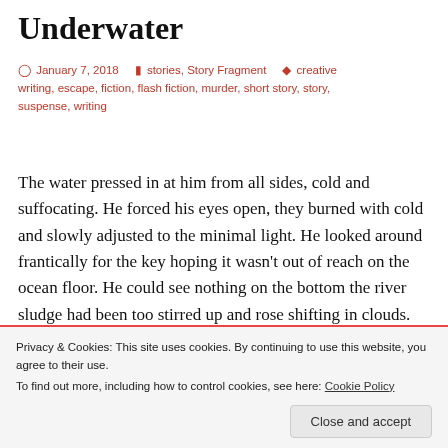Underwater
January 7, 2018   stories, Story Fragment   creative writing, escape, fiction, flash fiction, murder, short story, story, suspense, writing
The water pressed in at him from all sides, cold and suffocating. He forced his eyes open, they burned with cold and slowly adjusted to the minimal light. He looked around frantically for the key hoping it wasn't out of reach on the ocean floor. He could see nothing on the bottom the river sludge had been too stirred up and rose shifting in clouds. Then a tiny stream of bubbles caught his eye. He kicked down his muscles and lungs screaming. The chain attached
Privacy & Cookies: This site uses cookies. By continuing to use this website, you agree to their use.
To find out more, including how to control cookies, see here: Cookie Policy